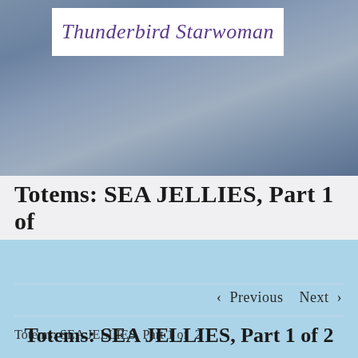[Figure (illustration): Stormy dark blue-grey sky background with a white rectangular logo box containing the cursive text 'Thunderbird Starwoman' in purple]
Totems: SEA JELLIES, Part 1 of
< Previous   Next >
Totems: SEA JELLIES, Part 1 of 2
Totems: SEA JELLIES, Part 1 of 2